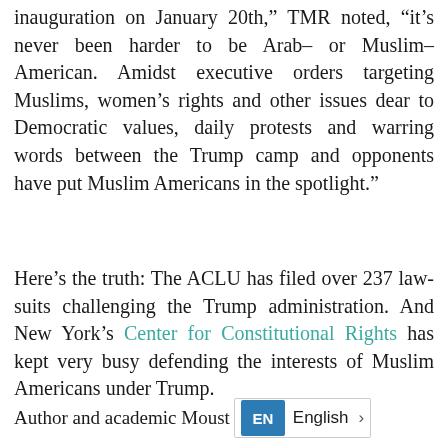inauguration on January 20th," TMR noted, "it's never been harder to be Arab- or Muslim-American. Amidst executive orders targeting Muslims, women's rights and other issues dear to Democratic values, daily protests and warring words between the Trump camp and opponents have put Muslim Americans in the spotlight."
Here's the truth: The ACLU has filed over 237 lawsuits challenging the Trump administration. And New York's Center for Constitutional Rights has kept very busy defending the interests of Muslim Americans under Trump.
Author and academic Moust [EN English >]